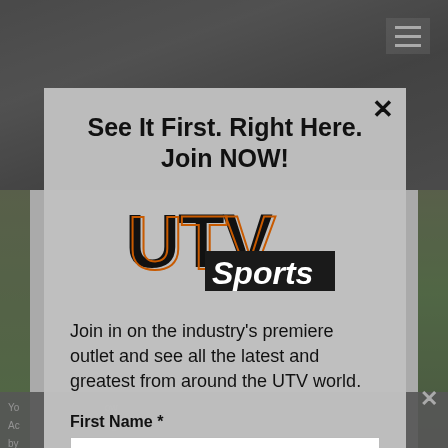[Figure (screenshot): Background webpage showing dark mechanical/engine image at top, outdoor UTV scene on sides, with hamburger menu icon in top right corner]
See It First. Right Here. Join NOW!
[Figure (logo): UTV Sports logo with large bold block letters UTV and Sports in white italic text on dark block]
Join in on the industry's premiere outlet and see all the latest and greatest from around the UTV world.
First Name *